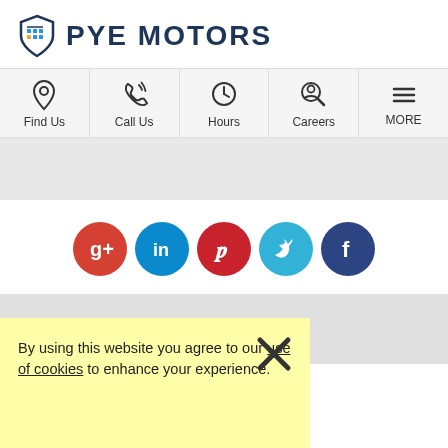PYE MOTORS
[Figure (infographic): Navigation bar with icons: Find Us (location pin), Call Us (phone), Hours (clock), Careers (person with magnifier), MORE (hamburger menu)]
[Figure (infographic): Social media icons row: Google+, LinkedIn, Pinterest, Twitter, Facebook]
Want to talk?
By using this website you agree to our use of cookies to enhance your experience.